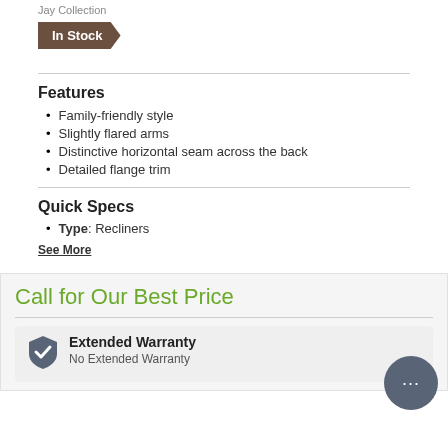Jay Collection
In Stock
Features
Family-friendly style
Slightly flared arms
Distinctive horizontal seam across the back
Detailed flange trim
Quick Specs
Type: Recliners
See More
Call for Our Best Price
Extended Warranty
No Extended Warranty